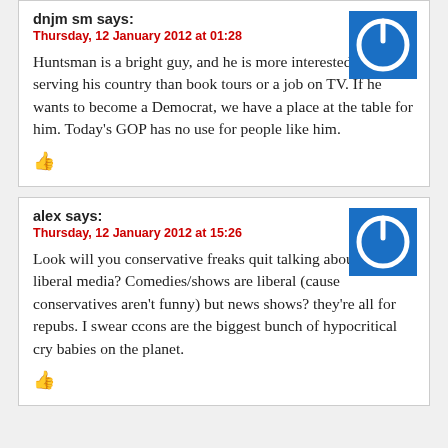dnjm sm says:
Thursday, 12 January 2012 at 01:28
Huntsman is a bright guy, and he is more interested in serving his country than book tours or a job on TV. If he wants to become a Democrat, we have a place at the table for him. Today's GOP has no use for people like him.
alex says:
Thursday, 12 January 2012 at 15:26
Look will you conservative freaks quit talking about the liberal media? Comedies/shows are liberal (cause conservatives aren't funny) but news shows? they're all for repubs. I swear ccons are the biggest bunch of hypocritical cry babies on the planet.